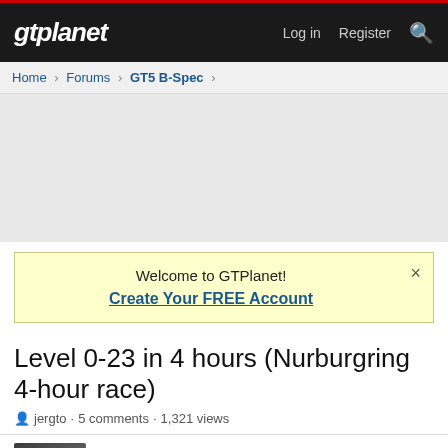gtplanet  Log in  Register
Home > Forums > GT5 B-Spec >
[Figure (other): Advertisement placeholder area (gray background)]
Welcome to GTPlanet! Create Your FREE Account
Level 0-23 in 4 hours (Nurburgring 4-hour race)
jergto · 5 comments · 1,321 views
jergto